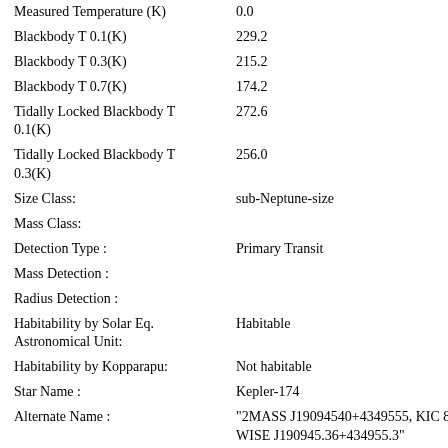| Property | Value |
| --- | --- |
| Measured Temperature (K) | 0.0 |
| Blackbody T 0.1(K) | 229.2 |
| Blackbody T 0.3(K) | 215.2 |
| Blackbody T 0.7(K) | 174.2 |
| Tidally Locked Blackbody T 0.1(K) | 272.6 |
| Tidally Locked Blackbody T 0.3(K) | 256.0 |
| Size Class: | sub-Neptune-size |
| Mass Class: |  |
| Detection Type : | Primary Transit |
| Mass Detection : |  |
| Radius Detection : |  |
| Habitability by Solar Eq. Astronomical Unit: | Habitable |
| Habitability by Kopparapu: | Not habitable |
| Star Name : | Kepler-174 |
| Alternate Name : | "2MASS J19094540+4349555, KIC 80518, WISE J190945.36+434955.3" |
| Star Distance(LY) : | 1254.5 |
| Stellar Radius(Rsun) : | 0.7 |